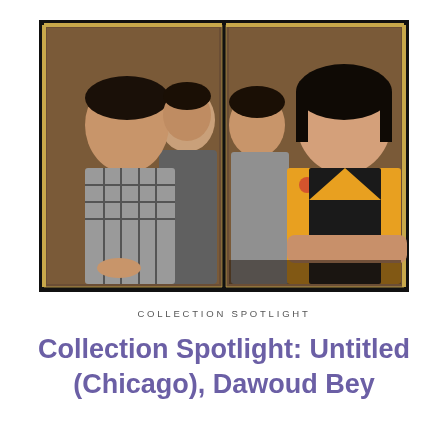[Figure (photo): Two Polaroid-style portrait photographs side by side, framed in black with gold inner borders. Left photo: a young man in a plaid flannel shirt in the foreground, a young woman partially visible behind him, both against a brown background. Right photo: the same young woman now in the foreground wearing a floral top and black vest with arms crossed, the young man partially visible behind her.]
COLLECTION SPOTLIGHT
Collection Spotlight: Untitled (Chicago), Dawoud Bey